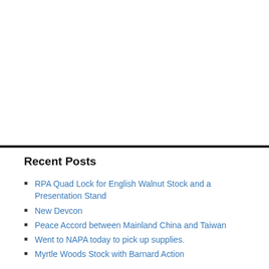Recent Posts
RPA Quad Lock for English Walnut Stock and a Presentation Stand
New Devcon
Peace Accord between Mainland China and Taiwan
Went to NAPA today to pick up supplies.
Myrtle Woods Stock with Barnard Action